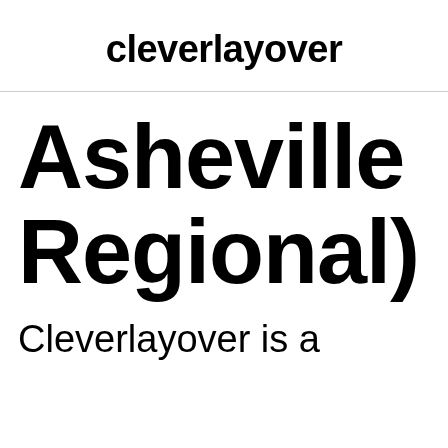cleverlayover
Asheville Regional)
Cleverlayover is a